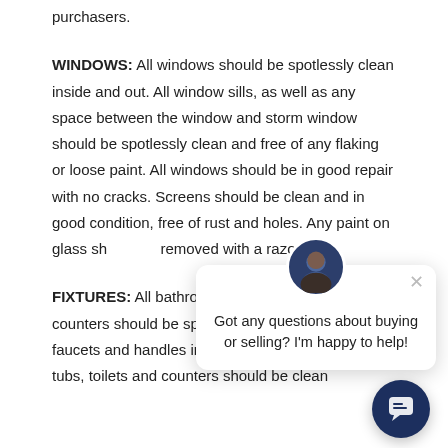purchasers.
WINDOWS: All windows should be spotlessly clean inside and out. All window sills, as well as any space between the window and storm window should be spotlessly clean and free of any flaking or loose paint. All windows should be in good repair with no cracks. Screens should be clean and in good condition, free of rust and holes. Any paint on glass should be removed with a razor b[lade]
FIXTURES: All bathroom and kitchen fixtures and counters should be sparkling clean. Polish chrome faucets and handles in the tub and sinks. All sinks, tubs, toilets and counters should be clean
[Figure (other): Chat popup overlay with avatar photo, close button, and message: Got any questions about buying or selling? I'm happy to help!]
[Figure (other): Dark blue circular chat bubble button with speech bubble icon]